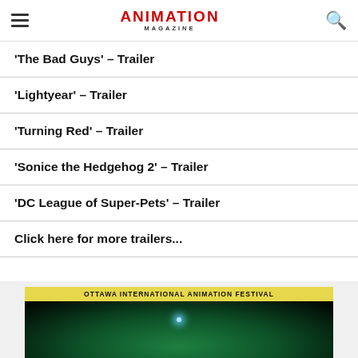Animation Magazine
'The Bad Guys' – Trailer
'Lightyear' – Trailer
'Turning Red' – Trailer
'Sonice the Hedgehog 2' – Trailer
'DC League of Super-Pets' – Trailer
Click here for more trailers...
[Figure (other): Ottawa International Animation Festival banner with dark green animated background and glowing light orb]